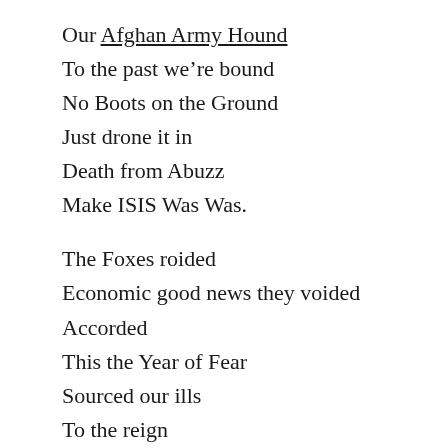Our Afghan Army Hound
To the past we're bound
No Boots on the Ground
Just drone it in
Death from Abuzz
Make ISIS Was Was.

The Foxes roided
Economic good news they voided
Accorded
This the Year of Fear
Sourced our ills
To the reign
Of Barack Hussein
Who can't-say-nope
To those drug mule kids